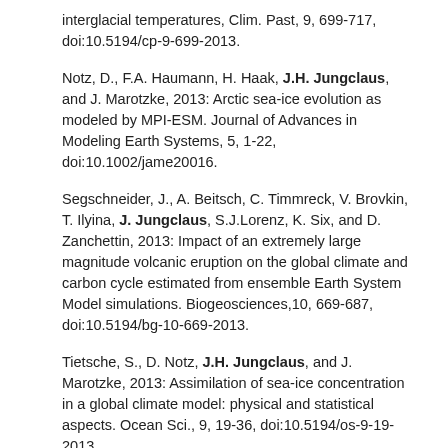interglacial temperatures, Clim. Past, 9, 699-717, doi:10.5194/cp-9-699-2013.
Notz, D., F.A. Haumann, H. Haak, J.H. Jungclaus, and J. Marotzke, 2013: Arctic sea-ice evolution as modeled by MPI-ESM. Journal of Advances in Modeling Earth Systems, 5, 1-22, doi:10.1002/jame20016.
Segschneider, J., A. Beitsch, C. Timmreck, V. Brovkin, T. Ilyina, J. Jungclaus, S.J.Lorenz, K. Six, and D. Zanchettin, 2013: Impact of an extremely large magnitude volcanic eruption on the global climate and carbon cycle estimated from ensemble Earth System Model simulations. Biogeosciences,10, 669-687, doi:10.5194/bg-10-669-2013.
Tietsche, S., D. Notz, J.H. Jungclaus, and J. Marotzke, 2013: Assimilation of sea-ice concentration in a global climate model: physical and statistical aspects. Ocean Sci., 9, 19-36, doi:10.5194/os-9-19-2013.
Tietsche, S., D. Notz, J.H. Jungclaus, and J. Marotzke, 2013: Predictability of large interannual Arctic sea-ice anomalies. Climate Dynamics, 41, 2511-2526.